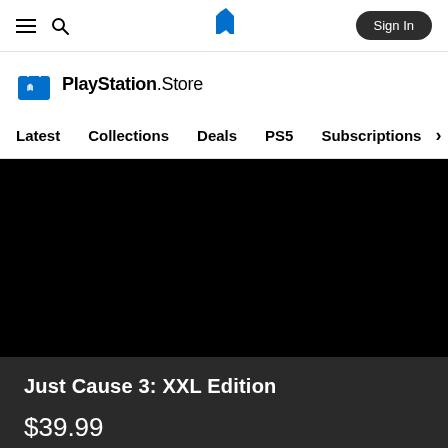PlayStation Store navigation bar with hamburger menu, search icon, PlayStation logo, and Sign In button
[Figure (logo): PlayStation Store logo with shopping bag icon and 'PlayStation.Store' text]
Latest | Collections | Deals | PS5 | Subscriptions >
[Figure (screenshot): Just Cause 3: XXL Edition game banner - black background]
Just Cause 3: XXL Edition
$39.99